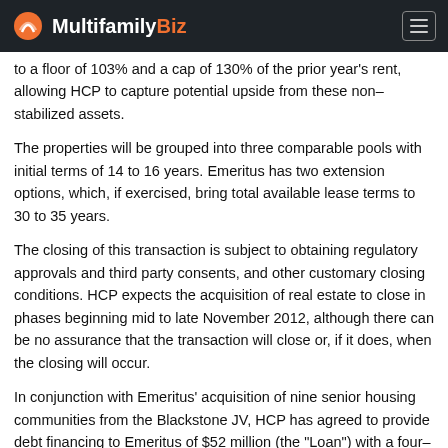MultifamilyBiz
to a floor of 103% and a cap of 130% of the prior year's rent, allowing HCP to capture potential upside from these non-stabilized assets.
The properties will be grouped into three comparable pools with initial terms of 14 to 16 years. Emeritus has two extension options, which, if exercised, bring total available lease terms to 30 to 35 years.
The closing of this transaction is subject to obtaining regulatory approvals and third party consents, and other customary closing conditions. HCP expects the acquisition of real estate to close in phases beginning mid to late November 2012, although there can be no assurance that the transaction will close or, if it does, when the closing will occur.
In conjunction with Emeritus' acquisition of nine senior housing communities from the Blackstone JV, HCP has agreed to provide debt financing to Emeritus of $52 million (the "Loan") with a four-year term. The Loan is secured by the underlying real estate and